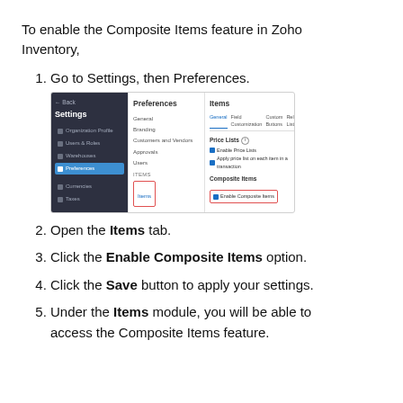To enable the Composite Items feature in Zoho Inventory,
1. Go to Settings, then Preferences.
[Figure (screenshot): Screenshot of Zoho Inventory Settings > Preferences > Items panel, showing Composite Items section with Enable Composite Items checkbox highlighted in red.]
2. Open the Items tab.
3. Click the Enable Composite Items option.
4. Click the Save button to apply your settings.
5. Under the Items module, you will be able to access the Composite Items feature.